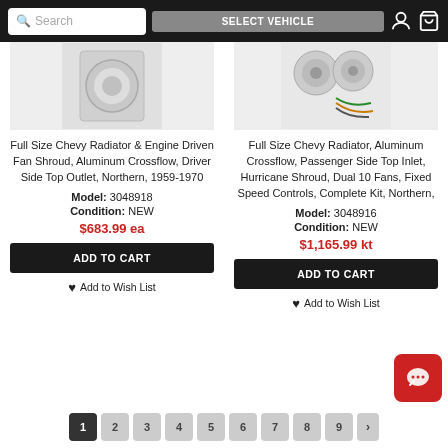Search | SELECT VEHICLE
[Figure (photo): Product image of Full Size Chevy Radiator and Engine Driven Fan Shroud]
Full Size Chevy Radiator & Engine Driven Fan Shroud, Aluminum Crossflow, Driver Side Top Outlet, Northern, 1959-1970
Model: 3048918
Condition: NEW
$683.99 ea
ADD TO CART
Add to Wish List
[Figure (photo): Product image of Full Size Chevy Radiator Aluminum Crossflow with hurricane shroud and fans kit]
Full Size Chevy Radiator, Aluminum Crossflow, Passenger Side Top Inlet, Hurricane Shroud, Dual 10 Fans, Fixed Speed Controls, Complete Kit, Northern,
Model: 3048916
Condition: NEW
$1,165.99 kt
ADD TO CART
Add to Wish List
1 2 3 4 5 6 7 8 9 >